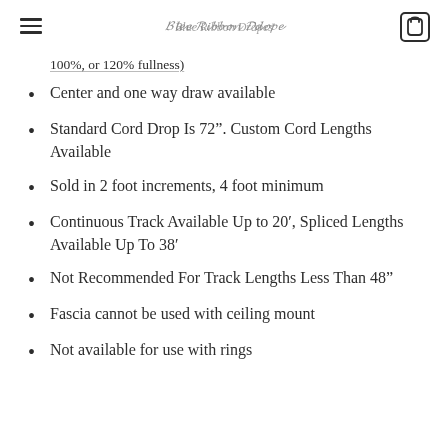Blue Ribbon Drapes (logo) | hamburger menu | cart icon
100%, or 120% fullness)
Center and one way draw available
Standard Cord Drop Is 72". Custom Cord Lengths Available
Sold in 2 foot increments, 4 foot minimum
Continuous Track Available Up to 20′, Spliced Lengths Available Up To 38′
Not Recommended For Track Lengths Less Than 48”
Fascia cannot be used with ceiling mount
Not available for use with rings